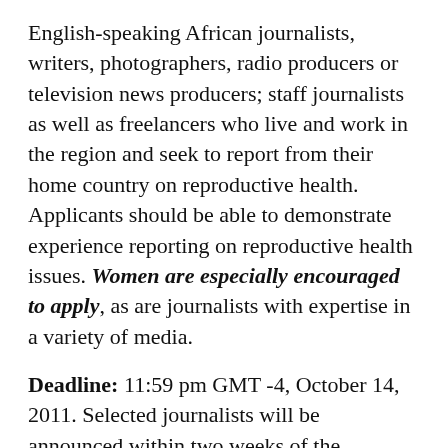English-speaking African journalists, writers, photographers, radio producers or television news producers; staff journalists as well as freelancers who live and work in the region and seek to report from their home country on reproductive health. Applicants should be able to demonstrate experience reporting on reproductive health issues. Women are especially encouraged to apply, as are journalists with expertise in a variety of media.
Deadline: 11:59 pm GMT -4, October 14, 2011. Selected journalists will be announced within two weeks of the